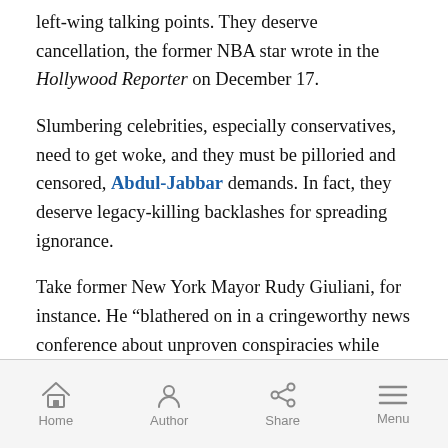left-wing talking points. They deserve cancellation, the former NBA star wrote in the Hollywood Reporter on December 17.
Slumbering celebrities, especially conservatives, need to get woke, and they must be pilloried and censored, Abdul-Jabbar demands. In fact, they deserve legacy-killing backlashes for spreading ignorance.
Take former New York Mayor Rudy Giuliani, for instance. He “blathered on in a cringeworthy news conference about unproven conspiracies while black streaks streamed from his hair,” writes Abdul-Jabbar (seen in above photo), who spent his entire career sweating on television.
Home  Author  Share  Menu